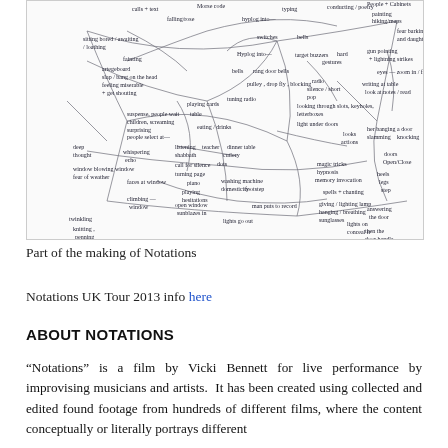[Figure (illustration): Hand-drawn mind map with interconnected words and phrases related to sound, movement, and everyday actions (e.g. sitting bored, whispering, knitting, playing bingo cards, lights go out, footsteps, darkened rooms, stairs and hallways, etc.) connected by curving lines forming a network diagram.]
Part of the making of Notations
Notations UK Tour 2013 info here
ABOUT NOTATIONS
“Notations” is a film by Vicki Bennett for live performance by improvising musicians and artists.  It has been created using collected and edited found footage from hundreds of different films, where the content conceptually or literally portrays different